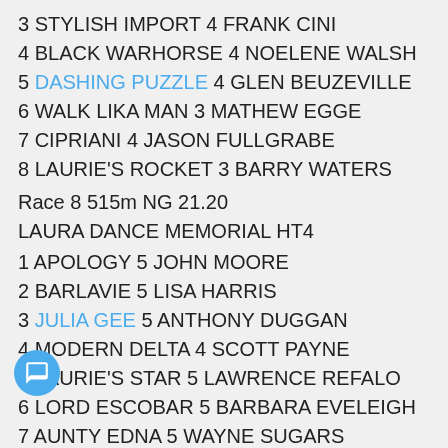3 STYLISH IMPORT 4 FRANK CINI
4 BLACK WARHORSE 4 NOELENE WALSH
5 DASHING PUZZLE 4 GLEN BEUZEVILLE
6 WALK LIKA MAN 3 MATHEW EGGE
7 CIPRIANI 4 JASON FULLGRABE
8 LAURIE'S ROCKET 3 BARRY WATERS
Race 8 515m NG 21.20
LAURA DANCE MEMORIAL HT4
1 APOLOGY 5 JOHN MOORE
2 BARLAVIE 5 LISA HARRIS
3 JULIA GEE 5 ANTHONY DUGGAN
4 MODERN DELTA 4 SCOTT PAYNE
5 LAURIE'S STAR 5 LAWRENCE REFALO
6 LORD ESCOBAR 5 BARBARA EVELEIGH
7 AUNTY EDNA 5 WAYNE SUGARS
8 LOTTA SHARE 3 MARGARET GREER
9 GRAFTON GHOST 5 CHRISTINE SCHIPP